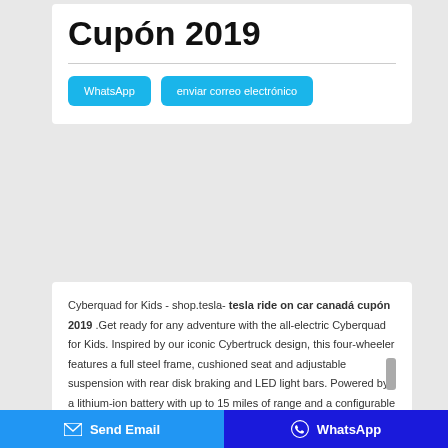Cupón 2019
WhatsApp
enviar correo electrónico
Cyberquad for Kids - shop.tesla- tesla ride on car canadá cupón 2019 .Get ready for any adventure with the all-electric Cyberquad for Kids. Inspired by our iconic Cybertruck design, this four-wheeler features a full steel frame, cushioned seat and adjustable suspension with rear disk braking and LED light bars. Powered by a lithium-ion battery with up to 15 miles of range and a configurable top speed of 10 mph, Cyberquad for Kids is suitable for …Tesla Car Cost - in 2022 - The PricerApr 11, 2021·As with every other Tesla, the full self-driving feature is a $10,000 option on top of basic Auto-pilot driver-assist innovation. Fancy paint is another option that can cost as much as $2,000 for the luscious red multi-coat. The base and Long Range models also will require $1,500 for the enjoyment of a larger 19-inch wheel with a sportier design, while the Performance gets …
Send Email   WhatsApp